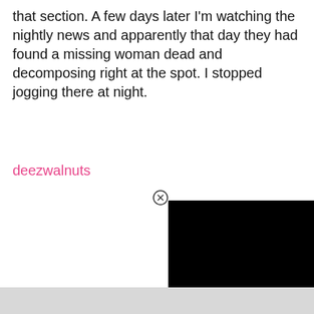that section. A few days later I'm watching the nightly news and apparently that day they had found a missing woman dead and decomposing right at the spot. I stopped jogging there at night.
deezwalnuts
[Figure (screenshot): Black video player rectangle with a circular X close button in the upper right corner]